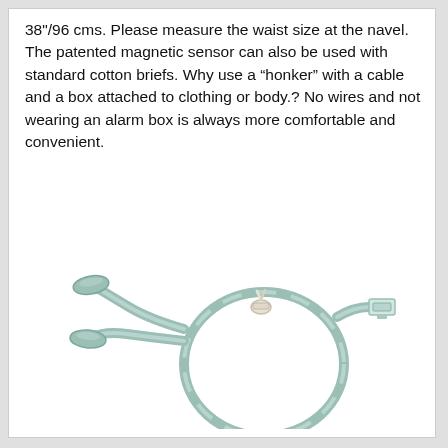38"/96 cms. Please measure the waist size at the navel. The patented magnetic sensor can also be used with standard cotton briefs. Why use a “honker” with a cable and a box attached to clothing or body.? No wires and not wearing an alarm box is always more comfortable and convenient.
[Figure (photo): A light grey/mint colored magnetic sensor cable coiled in a loop with two cylindrical sensor pods on one end and an RJ-style connector plug on the other end, tied with a white cable tie.]